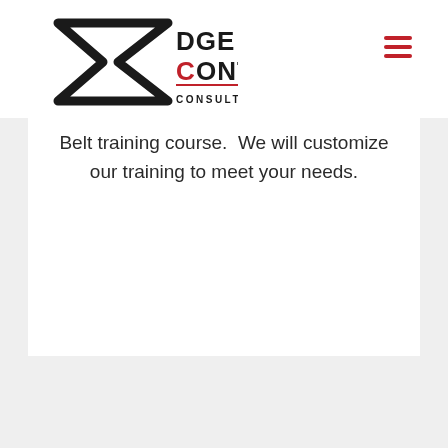[Figure (logo): Edge of Control Consulting Inc. logo with a sigma/arrow shape and red 'C' in Control]
Belt training course. We will customize our training to meet your needs.